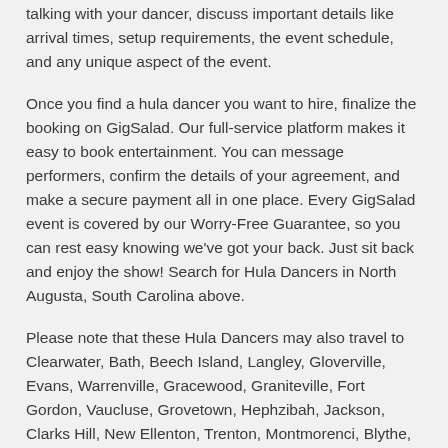talking with your dancer, discuss important details like arrival times, setup requirements, the event schedule, and any unique aspect of the event.
Once you find a hula dancer you want to hire, finalize the booking on GigSalad. Our full-service platform makes it easy to book entertainment. You can message performers, confirm the details of your agreement, and make a secure payment all in one place. Every GigSalad event is covered by our Worry-Free Guarantee, so you can rest easy knowing we've got your back. Just sit back and enjoy the show! Search for Hula Dancers in North Augusta, South Carolina above.
Please note that these Hula Dancers may also travel to Clearwater, Bath, Beech Island, Langley, Gloverville, Evans, Warrenville, Gracewood, Graniteville, Fort Gordon, Vaucluse, Grovetown, Hephzibah, Jackson, Clarks Hill, New Ellenton, Trenton, Montmorenci, Blythe, Edgefield, Modoc, Keysville, and Parksville.